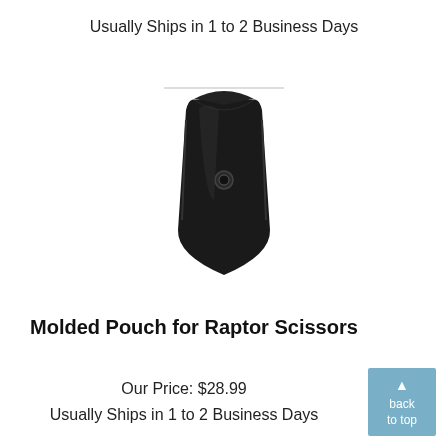Usually Ships in 1 to 2 Business Days
[Figure (photo): Black molded pouch for Raptor Scissors with snap button closure, shown standing upright on white background.]
Molded Pouch for Raptor Scissors
Our Price: $28.99
Usually Ships in 1 to 2 Business Days